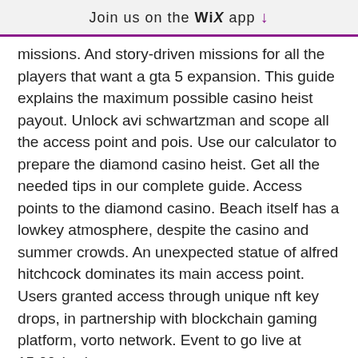Join us on the WiX app ↓
missions. And story-driven missions for all the players that want a gta 5 expansion. This guide explains the maximum possible casino heist payout. Unlock avi schwartzman and scope all the access point and pois. Use our calculator to prepare the diamond casino heist. Get all the needed tips in our complete guide. Access points to the diamond casino. Beach itself has a lowkey atmosphere, despite the casino and summer crowds. An unexpected statue of alfred hitchcock dominates its main access point. Users granted access through unique nft key drops, in partnership with blockchain gaming platform, vorto network. Event to go live at 15:00 (cet)
Bovada gives you up to $3000 as a welcome bonus matching your initial deposit. You also get a $10 free playing